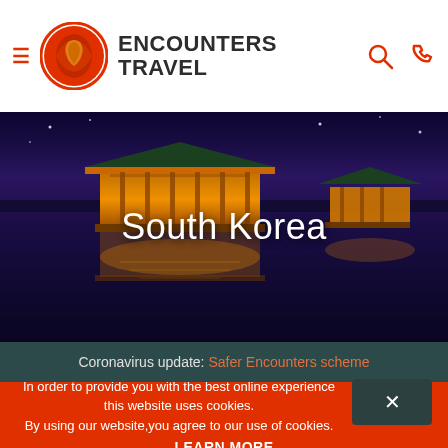Encounters Travel
[Figure (photo): Korean traditional pavilion (Anapji Pond, Gyeongju) illuminated at night in gold and red, reflected in still water, against a deep blue/purple twilight sky.]
South Korea
Coronavirus update: Safer Encounters scheme
In order to provide you with the best online experience this website uses cookies. By using our website you agree to our use of cookies. LEARN MORE